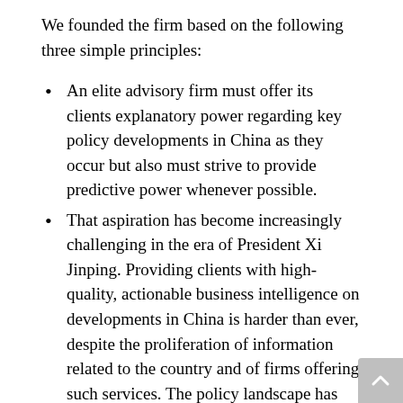We founded the firm based on the following three simple principles:
An elite advisory firm must offer its clients explanatory power regarding key policy developments in China as they occur but also must strive to provide predictive power whenever possible.
That aspiration has become increasingly challenging in the era of President Xi Jinping. Providing clients with high-quality, actionable business intelligence on developments in China is harder than ever, despite the proliferation of information related to the country and of firms offering such services. The policy landscape has become more opaque as informal policy channels have supplanted formal ones, and the secretive Chinese Communist Party has reasserted its primacy in all areas of policy formulation and execution.
No amount of statistical data or reasoned speculative analysis can replace regular policy insight gleaned from sustained, on-the-ground contact with senior Chinese policymakers and other authoritative elite voices. We